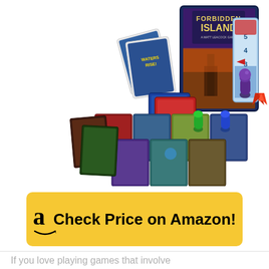[Figure (photo): Product photo of Forbidden Island board game showing the game box, cards (including 'Waters Rise!' cards and blue water level meter), game tiles arranged on table, and colorful player pawns (green, blue, purple, red) along with game components spread out.]
Check Price on Amazon!
If you love playing games that involve